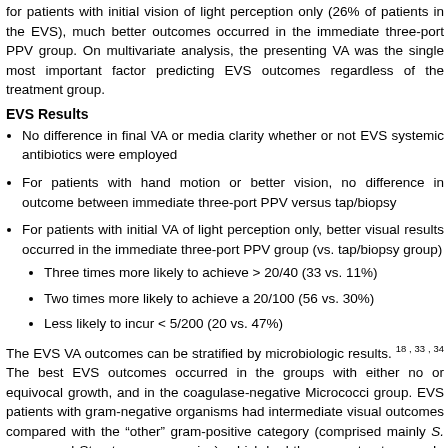for patients with initial vision of light perception only (26% of patients in the EVS), much better outcomes occurred in the immediate three-port PPV group. On multivariate analysis, the presenting VA was the single most important factor predicting EVS outcomes regardless of the treatment group.
EVS Results
No difference in final VA or media clarity whether or not EVS systemic antibiotics were employed
For patients with hand motion or better vision, no difference in outcome between immediate three-port PPV versus tap/biopsy
For patients with initial VA of light perception only, better visual results occurred in the immediate three-port PPV group (vs. tap/biopsy group)
Three times more likely to achieve > 20/40 (33 vs. 11%)
Two times more likely to achieve a 20/100 (56 vs. 30%)
Less likely to incur < 5/200 (20 vs. 47%)
The EVS VA outcomes can be stratified by microbiologic results. 18, 33, 34 The best EVS outcomes occurred in the groups with either no or equivocal growth, and in the coagulase-negative Micrococci group. EVS patients with gram-negative organisms had intermediate visual outcomes compared with the "other" gram-positive category (comprised mainly S. aureus and Streptococcus species), which had the poorest outcomes. In the EVS, all cataract surgeries were performed b